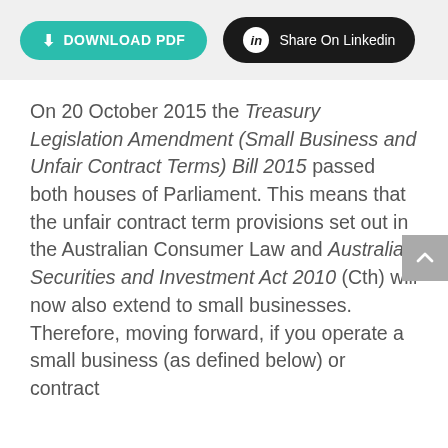[Figure (other): Top bar with Download PDF button (teal/cyan rounded pill button) and Share On Linkedin button (black rounded pill button with LinkedIn icon)]
On 20 October 2015 the Treasury Legislation Amendment (Small Business and Unfair Contract Terms) Bill 2015 passed both houses of Parliament. This means that the unfair contract term provisions set out in the Australian Consumer Law and Australian Securities and Investment Act 2010 (Cth) will now also extend to small businesses. Therefore, moving forward, if you operate a small business (as defined below) or contract